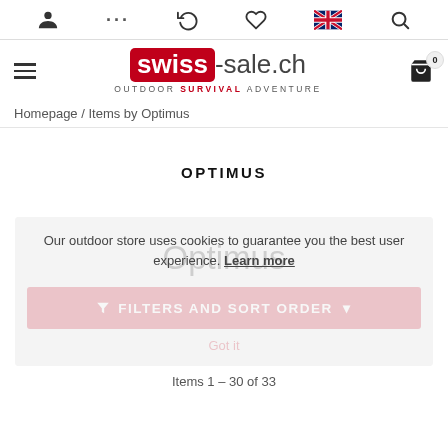swiss-sale.ch — OUTDOOR SURVIVAL ADVENTURE
Homepage / Items by Optimus
OPTIMUS
Our outdoor store uses cookies to guarantee you the best user experience. Learn more
Optimus
FILTERS AND SORT ORDER
Got it